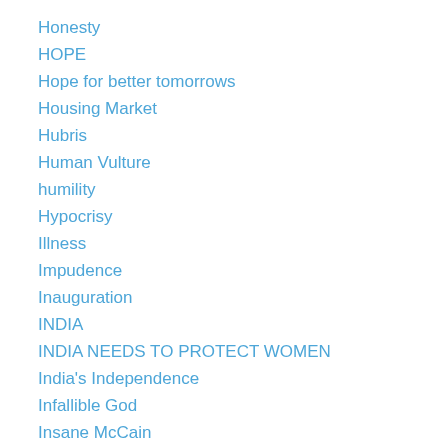Honesty
HOPE
Hope for better tomorrows
Housing Market
Hubris
Human Vulture
humility
Hypocrisy
Illness
Impudence
Inauguration
INDIA
INDIA NEEDS TO PROTECT WOMEN
India's Independence
Infallible God
Insane McCain
Internecine Policies
Iran
ISIS